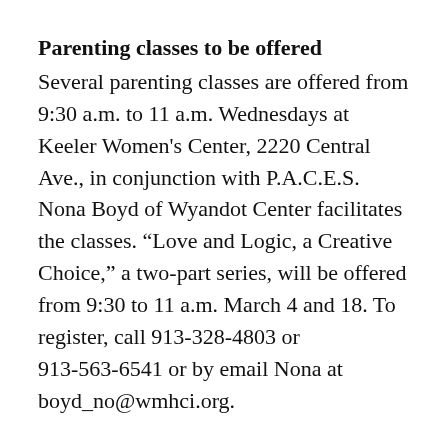Parenting classes to be offered
Several parenting classes are offered from 9:30 a.m. to 11 a.m. Wednesdays at Keeler Women's Center, 2220 Central Ave., in conjunction with P.A.C.E.S. Nona Boyd of Wyandot Center facilitates the classes. “Love and Logic, a Creative Choice,” a two-part series, will be offered from 9:30 to 11 a.m. March 4 and 18. To register, call 913-328-4803 or 913-563-6541 or by email Nona at boyd_no@wmhci.org.
BPU to meet March 4
The Board of Public Utilities will meet at 4:30 p.m. March 4 for a work session and at 6 p.m. for the regular meeting. The meeting will be at